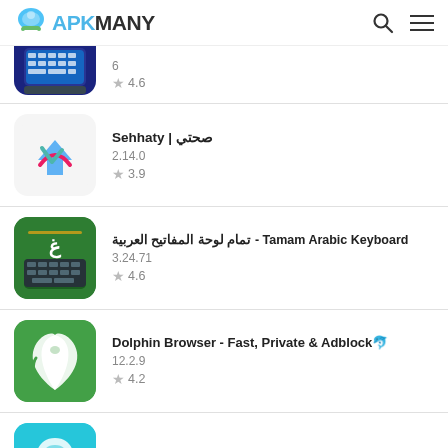APKMANY
[Figure (screenshot): Partial app listing - keyboard app icon (partially visible), version 6, rating 4.6]
Sehhaty | صحتي, version 2.14.0, rating 3.9
Tamam Arabic Keyboard - تمام لوحة المفاتيح العربية, version 3.24.71, rating 4.6
Dolphin Browser - Fast, Private & Adblock🐬, version 12.2.9, rating 4.2
Secure VPN🔒Safer Internet